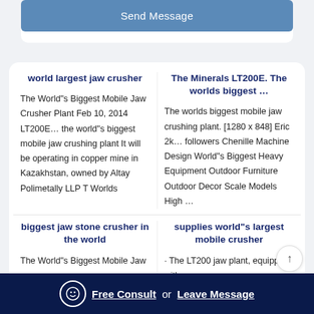Send Message
world largest jaw crusher
The Minerals LT200E. The worlds biggest …
The World"s Biggest Mobile Jaw Crusher Plant Feb 10, 2014 LT200E… the world"s biggest mobile jaw crushing plant It will be operating in copper mine in Kazakhstan, owned by Altay Polimetally LLP T Worlds
The worlds biggest mobile jaw crushing plant. [1280 x 848] Eric 2k… followers Chenille Machine Design World"s Biggest Heavy Equipment Outdoor Furniture Outdoor Decor Scale Models High …
biggest jaw stone crusher in the world
supplies world"s largest mobile crusher
The World"s Biggest Mobile Jaw
· The LT200 jaw plant, equipped with
Free Consult or Leave Message